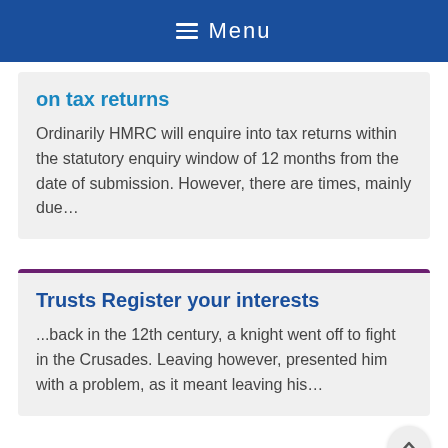☰  Menu
on tax returns
Ordinarily HMRC will enquire into tax returns within the statutory enquiry window of 12 months from the date of submission. However, there are times, mainly due…
Trusts Register your interests
...back in the 12th century, a knight went off to fight in the Crusades. Leaving however, presented him with a problem, as it meant leaving his…